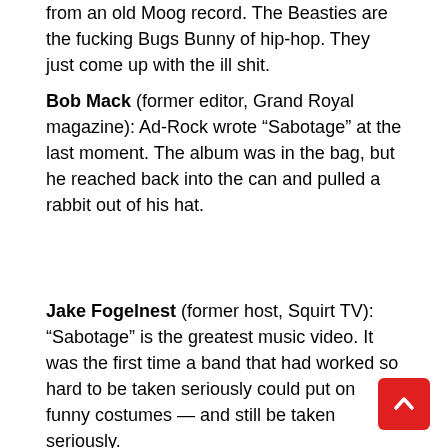from an old Moog record. The Beasties are the fucking Bugs Bunny of hip-hop. They just come up with the ill shit.
Bob Mack (former editor, Grand Royal magazine): Ad-Rock wrote “Sabotage” at the last moment. The album was in the bag, but he reached back into the can and pulled a rabbit out of his hat.
Jake Fogelnest (former host, Squirt TV): “Sabotage” is the greatest music video. It was the first time a band that had worked so hard to be taken seriously could put on funny costumes — and still be taken seriously.